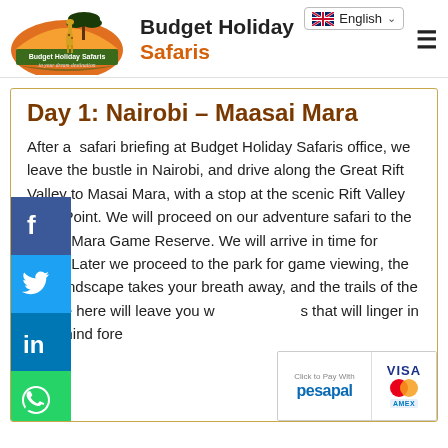Budget Holiday Safaris — English
Day 1: Nairobi – Maasai Mara
After a  safari briefing at Budget Holiday Safaris office, we leave the bustle in Nairobi, and drive along the Great Rift Valley to Masai Mara, with a stop at the scenic Rift Valley View Point. We will proceed on our adventure safari to the Masai Mara Game Reserve. We will arrive in time for lunch. Later we proceed to the park for game viewing, the rich landscape takes your breath away, and the trails of the wildlife here will leave you with memories that will linger in your mind forever.
[Figure (logo): Budget Holiday Safaris logo with giraffe and tree on sunset background]
[Figure (other): Payment methods: pesapal, VISA, Mastercard, American Express]